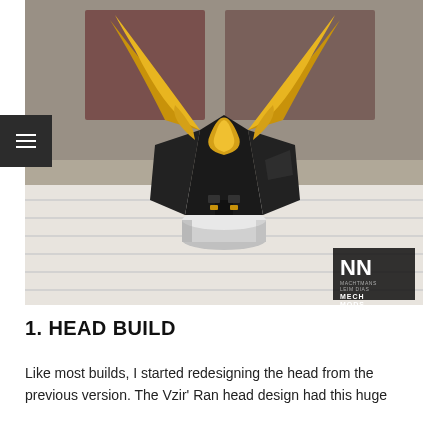[Figure (photo): Close-up photo of a LEGO mech/robot head build featuring large golden horn/blade pieces and black armor parts, displayed on a silver cylindrical stand on a white wooden surface. An NN MechMods watermark is visible in the bottom right.]
1. HEAD BUILD
Like most builds, I started redesigning the head from the previous version. The Vzir' Ran head design had this huge